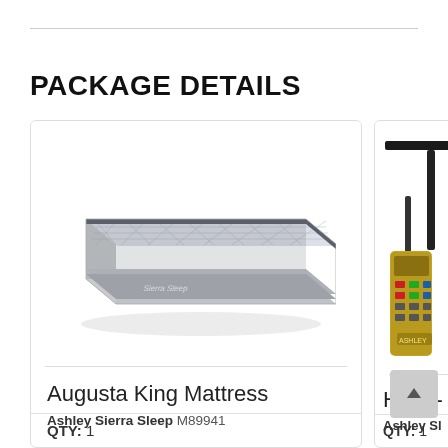PACKAGE DETAILS
[Figure (photo): Augusta King Mattress product photo - white/grey quilted pillow-top mattress shown at an angle]
Augusta King Mattress
Ashley Sierra Sleep M89941
QTY: 1
[Figure (photo): Head- (adjustable bed base) product photo - black frame with remote control, partially visible]
Head-
Ashley Sl
QTY: 1